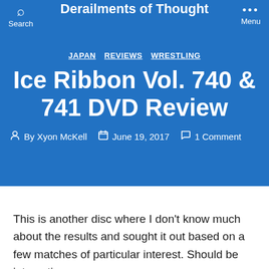Derailments of Thought
JAPAN  REVIEWS  WRESTLING
Ice Ribbon Vol. 740 & 741 DVD Review
By Xyon McKell   June 19, 2017   1 Comment
This is another disc where I don't know much about the results and sought it out based on a few matches of particular interest. Should be interesting.